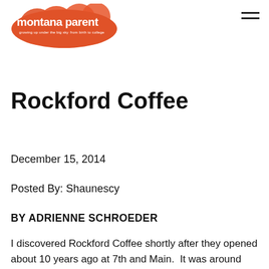[Figure (logo): Montana Parent magazine logo with orange overlapping circles and white text reading 'montana parent', 'growing up under the big sky', 'from birth to college']
Rockford Coffee
December 15, 2014
Posted By: Shaunescy
BY ADRIENNE SCHROEDER
I discovered Rockford Coffee shortly after they opened about 10 years ago at 7th and Main.  It was around the same time that I was a sleep deprived,